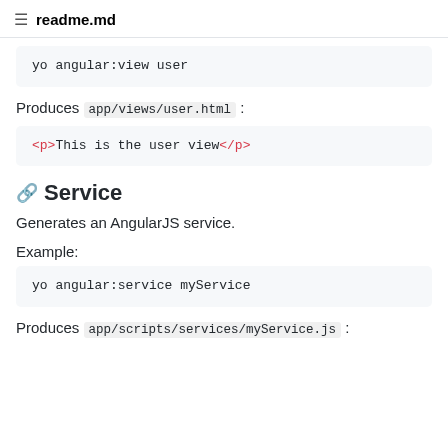readme.md
yo angular:view user
Produces app/views/user.html :
<p>This is the user view</p>
Service
Generates an AngularJS service.
Example:
yo angular:service myService
Produces app/scripts/services/myService.js :